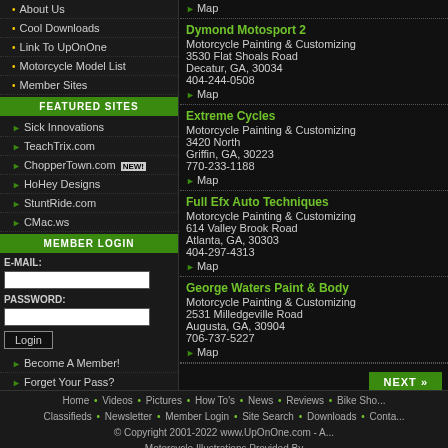About Us
Cool Downloads
Link To UpOnOne
Motorcycle Model List
Member Sites
FEATURED SITES
Sick Innovations
TeachTrix.com
ChopperTown.com NEW!
HoHey Designs
StuntRide.com
CMac.ws
MEMBER LOGIN
E-MAIL:
PASSWORD:
Login
Become A Member!
Forget Your Pass?
Map
Dymond Motosport 2
Motorcycle Painting & Customizing
3530 Flat Shoals Road
Decatur, GA, 30034
404-244-0508
Map
Extreme Cycles
Motorcycle Painting & Customizing
3420 North
Griffin, GA, 30223
770-233-1188
Map
Full Efx Auto Techniques
Motorcycle Painting & Customizing
614 Valley Brook Road
Atlanta, GA, 30303
404-297-4313
Map
George Waters Paint & Body
Motorcycle Painting & Customizing
2531 Milledgeville Road
Augusta, GA, 30904
706-737-5227
Map
NEXT >>
Home • Videos • Pictures • How To's • News • Reviews • Bike Sho...
Classifieds • Newsletter • Member Login • Site Search • Downloads • Conta...
© Copyright 2001-2022 www.UpOnOne.com - A...
Motorcycle Illustrations Provided By